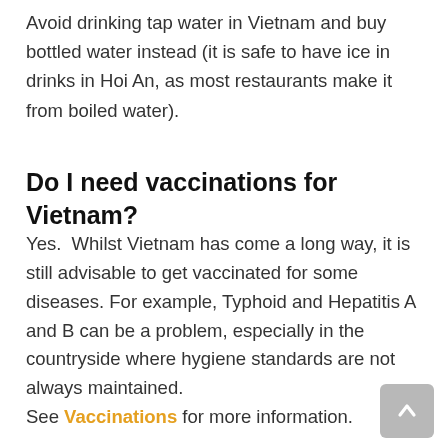Avoid drinking tap water in Vietnam and buy bottled water instead (it is safe to have ice in drinks in Hoi An, as most restaurants make it from boiled water).
Do I need vaccinations for Vietnam?
Yes.  Whilst Vietnam has come a long way, it is still advisable to get vaccinated for some diseases. For example, Typhoid and Hepatitis A and B can be a problem, especially in the countryside where hygiene standards are not always maintained.
See Vaccinations for more information.
Should I take malaria tablets for my Vietnam travels?
The malaria risk in Vietnam is low but cannot be excluded. If you are travelling to places commonly visited